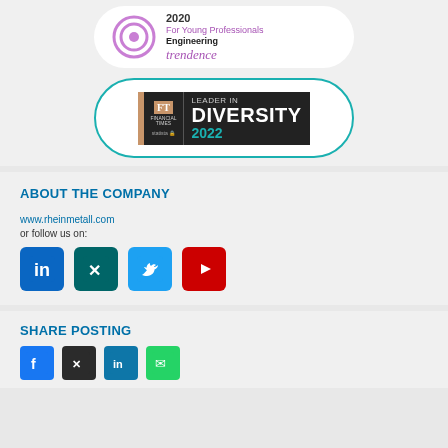[Figure (logo): Trendence 2020 For Young Professionals Engineering award badge in a white pill-shaped container]
[Figure (logo): Financial Times Leader in Diversity 2022 badge by Statista in a white pill with teal border]
ABOUT THE COMPANY
www.rheinmetall.com
or follow us on:
[Figure (infographic): Social media icons: LinkedIn, Xing, Twitter, YouTube]
SHARE POSTING
[Figure (infographic): Share posting social icons row]